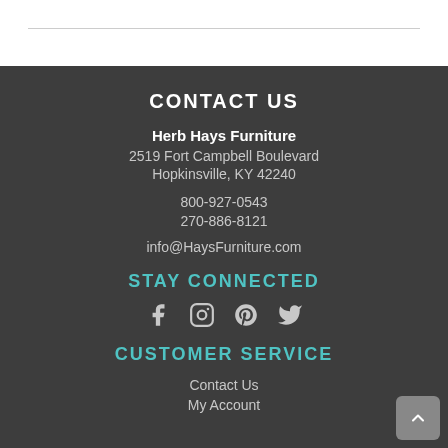CONTACT US
Herb Hays Furniture
2519 Fort Campbell Boulevard
Hopkinsville, KY 42240
800-927-0543
270-886-8121
info@HaysFurniture.com
STAY CONNECTED
[Figure (infographic): Social media icons: Facebook, Instagram, Pinterest, Twitter]
CUSTOMER SERVICE
Contact Us
My Account